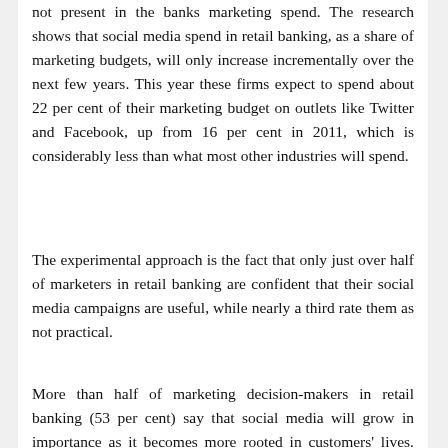not present in the banks marketing spend. The research shows that social media spend in retail banking, as a share of marketing budgets, will only increase incrementally over the next few years. This year these firms expect to spend about 22 per cent of their marketing budget on outlets like Twitter and Facebook, up from 16 per cent in 2011, which is considerably less than what most other industries will spend.
The experimental approach is the fact that only just over half of marketers in retail banking are confident that their social media campaigns are useful, while nearly a third rate them as not practical.
More than half of marketing decision-makers in retail banking (53 per cent) say that social media will grow in importance as it becomes more rooted in customers' lives. However, more than a third (34 per cent) believe that it will only apply to certain areas of